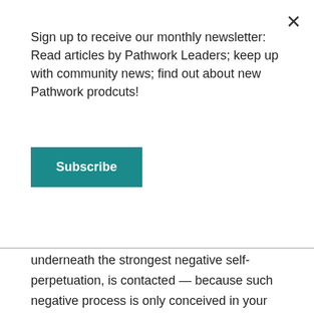Sign up to receive our monthly newsletter: Read articles by Pathwork Leaders; keep up with community news; find out about new Pathwork prodcuts!
Subscribe
underneath the strongest negative self-perpetuation, is contacted — because such negative process is only conceived in your own outlook — the easier it is for you to switch the energy currents from destructive into constructive channels.
Only in this way can the ego become strong and healthy and integrate with that utterly reliable inner being which functions in an indirect way. In this “indirection” life happens effortlessly, yet you are not a passive recipient. Things do not happen for you; they happen with and through you and make you automatically respond in an adequate way. When people want to be left out of the life...